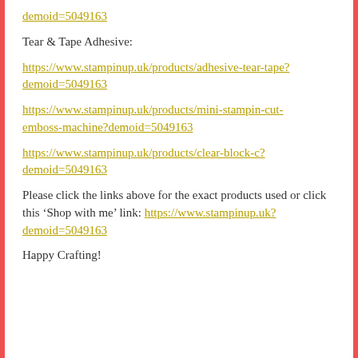demoid=5049163
Tear & Tape Adhesive:
https://www.stampinup.uk/products/adhesive-tear-tape?demoid=5049163
https://www.stampinup.uk/products/mini-stampin-cut-emboss-machine?demoid=5049163
https://www.stampinup.uk/products/clear-block-c?demoid=5049163
Please click the links above for the exact products used or click this ‘Shop with me’ link: https://www.stampinup.uk?demoid=5049163
Happy Crafting!